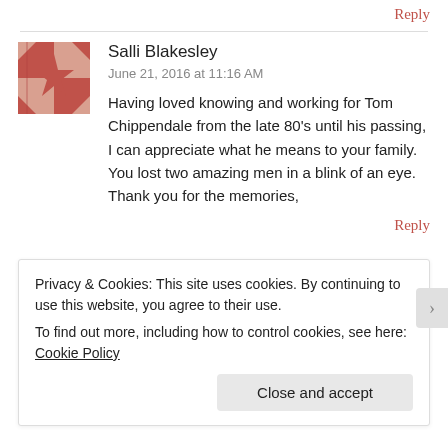Reply
Salli Blakesley
June 21, 2016 at 11:16 AM
Having loved knowing and working for Tom Chippendale from the late 80's until his passing, I can appreciate what he means to your family. You lost two amazing men in a blink of an eye. Thank you for the memories,
Reply
Privacy & Cookies: This site uses cookies. By continuing to use this website, you agree to their use.
To find out more, including how to control cookies, see here: Cookie Policy
Close and accept